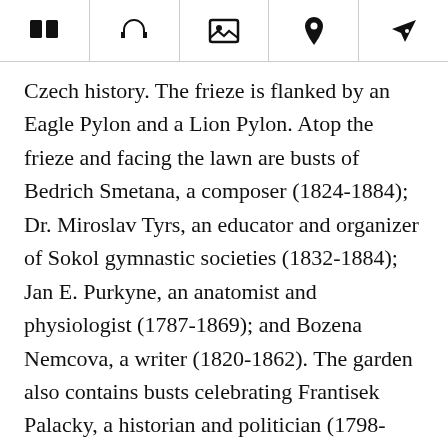[icons: book, headphones, image, location pin, tag]
Czech history. The frieze is flanked by an Eagle Pylon and a Lion Pylon. Atop the frieze and facing the lawn are busts of Bedrich Smetana, a composer (1824-1884); Dr. Miroslav Tyrs, an educator and organizer of Sokol gymnastic societies (1832-1884); Jan E. Purkyne, an anatomist and physiologist (1787-1869); and Bozena Nemcova, a writer (1820-1862). The garden also contains busts celebrating Frantisek Palacky, a historian and politician (1798-1876); Antonin Dvorak, a composer (1841-1904); the Reverend Jendrich Simon Baar, a priest and novelist (1869-1929);